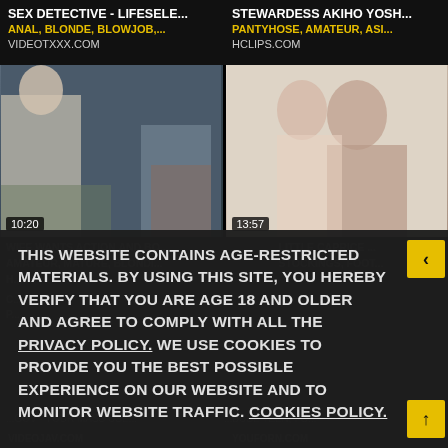SEX DETECTIVE - LIFESELE... | ANAL, BLONDE, BLOWJOB,... | VIDEOTXXX.COM
STEWARDESS AKIHO YOSH... | PANTYHOSE, AMATEUR, ASI... | HCLIPS.COM
[Figure (photo): Video thumbnail left, duration 10:20]
[Figure (photo): Video thumbnail right, duration 13:57]
THIS WEBSITE CONTAINS AGE-RESTRICTED MATERIALS. BY USING THIS SITE, YOU HEREBY VERIFY THAT YOU ARE AGE 18 AND OLDER AND AGREE TO COMPLY WITH ALL THE PRIVACY POLICY. WE USE COOKIES TO PROVIDE YOU THE BEST POSSIBLE EXPERIENCE ON OUR WEBSITE AND TO MONITOR WEBSITE TRAFFIC. COOKIES POLICY.